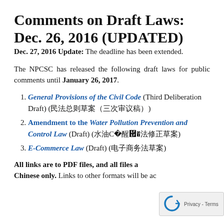Comments on Draft Laws: Dec. 26, 2016 (UPDATED)
Dec. 27, 2016 Update: The deadline has been extended.
The NPCSC has released the following draft laws for public comments until January 26, 2017.
General Provisions of the Civil Code (Third Deliberation Draft) (民法总则草案（三次审议稿）)
Amendment to the Water Pollution Prevention and Control Law (Draft) (水污染防治法修正草案)
E-Commerce Law (Draft) (电子商务法草案)
All links are to PDF files, and all files are in Chinese only. Links to other formats will be added.